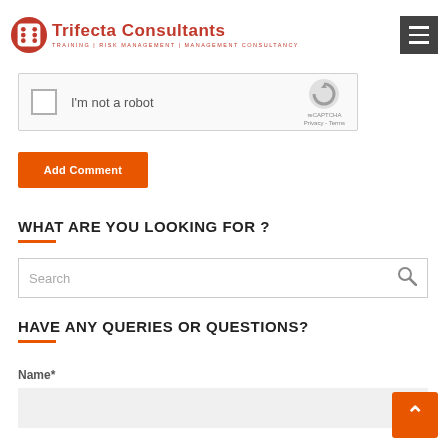Trifecta Consultants — TRAINING | RISK MANAGEMENT | MANAGEMENT CONSULTANCY
[Figure (screenshot): reCAPTCHA widget with checkbox labeled 'I'm not a robot' and reCAPTCHA logo with Privacy and Terms links]
[Figure (other): Orange 'Add Comment' submit button]
WHAT ARE YOU LOOKING FOR ?
[Figure (screenshot): Search input box with search icon on the right]
HAVE ANY QUERIES OR QUESTIONS?
Name*
[Figure (screenshot): Name text input field (empty, gray background)]